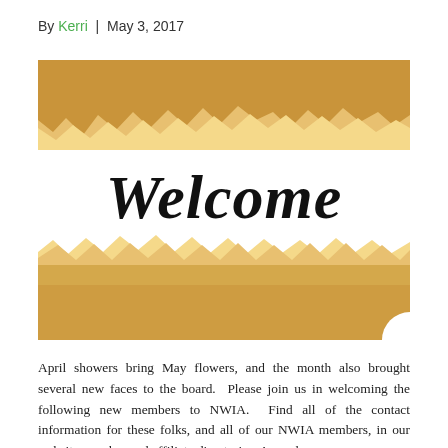By Kerri | May 3, 2017
[Figure (photo): A photo of a torn piece of kraft/brown paper revealing a white background underneath with the word 'Welcome' written in elegant black cursive script.]
April showers bring May flowers, and the month also brought several new faces to the board.  Please join us in welcoming the following new members to NWIA.  Find all of the contact information for these folks, and all of our NWIA members, in our website member and affiliate directories. Amanda